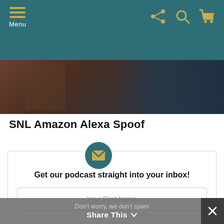Menu
[Figure (photo): Hero image showing a person, partially visible, dark/warm tones]
SNL Amazon Alexa Spoof
[Figure (infographic): Email signup card with envelope icon, heading 'Get our podcast straight into your inbox!', first name field, email field, and SIGN UP button]
Don't worry, we don't spam
Share This